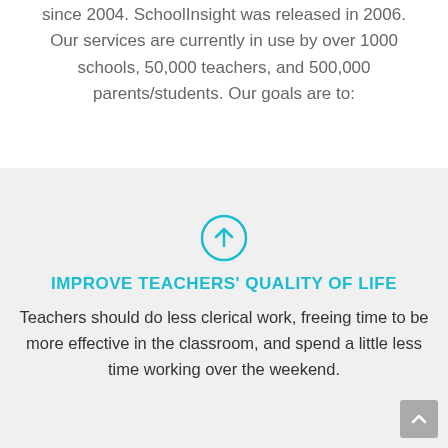since 2004. SchoolInsight was released in 2006. Our services are currently in use by over 1000 schools, 50,000 teachers, and 500,000 parents/students. Our goals are to:
[Figure (illustration): Teal circle with upward pointing arrow icon, representing a goal]
IMPROVE TEACHERS' QUALITY OF LIFE
Teachers should do less clerical work, freeing time to be more effective in the classroom, and spend a little less time working over the weekend.